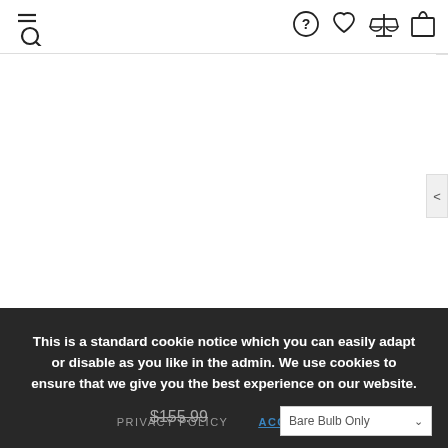Navigation bar with search, help, wishlist, compare, and cart icons
[Figure (screenshot): Empty white product image area with a left-arrow navigation button on the right side]
This is a standard cookie notice which you can easily adapt or disable as you like in the admin. We use cookies to ensure that we give you the best experience on our website.
PRIVACY POLICY   ACCEPT ✓
$155.99   Bare Bulb Only